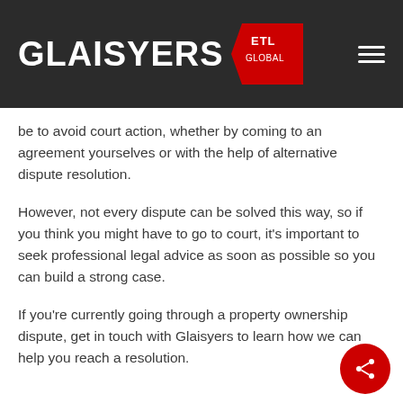GLAISYERS ETL GLOBAL
be to avoid court action, whether by coming to an agreement yourselves or with the help of alternative dispute resolution.
However, not every dispute can be solved this way, so if you think you might have to go to court, it's important to seek professional legal advice as soon as possible so you can build a strong case.
If you're currently going through a property ownership dispute, get in touch with Glaisyers to learn how we can help you reach a resolution.